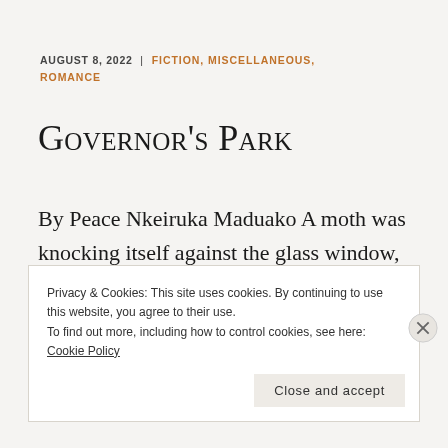AUGUST 8, 2022 | FICTION, MISCELLANEOUS, ROMANCE
Governor's Park
By Peace Nkeiruka Maduako A moth was knocking itself against the glass window, determined to get outside. Olive was awake
Privacy & Cookies: This site uses cookies. By continuing to use this website, you agree to their use.
To find out more, including how to control cookies, see here: Cookie Policy
Close and accept